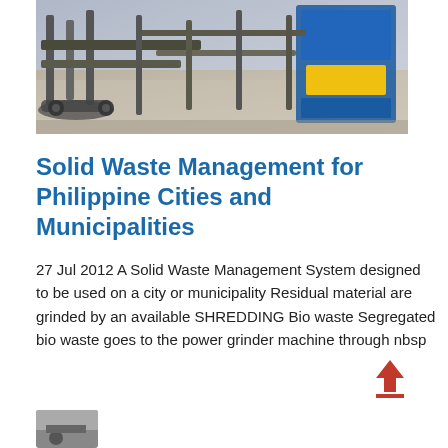[Figure (photo): Photograph of heavy industrial shredding/grinding machinery equipment outdoors on a construction or waste processing site]
Solid Waste Management for Philippine Cities and Municipalities
27 Jul 2012 A Solid Waste Management System designed to be used on a city or municipality Residual material are grinded by an available SHREDDING Bio waste Segregated bio waste goes to the power grinder machine through nbsp
[Figure (photo): Partial photo visible at bottom left of page, appears to be additional machinery or equipment image]